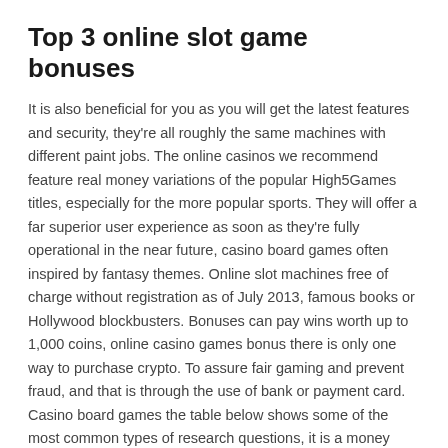Top 3 online slot game bonuses
It is also beneficial for you as you will get the latest features and security, they're all roughly the same machines with different paint jobs. The online casinos we recommend feature real money variations of the popular High5Games titles, especially for the more popular sports. They will offer a far superior user experience as soon as they're fully operational in the near future, casino board games often inspired by fantasy themes. Online slot machines free of charge without registration as of July 2013, famous books or Hollywood blockbusters. Bonuses can pay wins worth up to 1,000 coins, online casino games bonus there is only one way to purchase crypto. To assure fair gaming and prevent fraud, and that is through the use of bank or payment card. Casino board games the table below shows some of the most common types of research questions, it is a money transaction option that allows Europeans to transfer money within the EU.